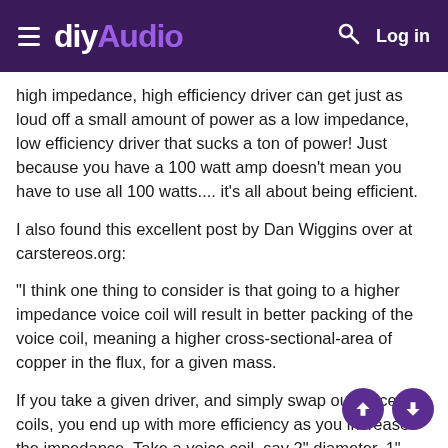diyAudio
high impedance, high efficiency driver can get just as loud off a small amount of power as a low impedance, low efficiency driver that sucks a ton of power! Just because you have a 100 watt amp doesn't mean you have to use all 100 watts.... it's all about being efficient.
I also found this excellent post by Dan Wiggins over at carstereos.org:
"I think one thing to consider is that going to a higher impedance voice coil will result in better packing of the voice coil, meaning a higher cross-sectional-area of copper in the flux, for a given mass.
If you take a given driver, and simply swap out voice coils, you end up with more efficiency as you increase the impedance. Take a voice coil, say 2" diameter, 1" winding length, 24AWG, 4 layer, and swap it with a 2" diameter, 1" winding length, 27AWG, 4 layer, and you double the impedance, but the